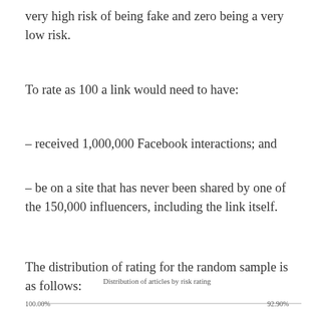very high risk of being fake and zero being a very low risk.
To rate as 100 a link would need to have:
– received 1,000,000 Facebook interactions; and
– be on a site that has never been shared by one of the 150,000 influencers, including the link itself.
The distribution of rating for the random sample is as follows:
[Figure (bar-chart): Partial bar chart showing distribution of articles by risk rating. Labels visible: 100.00% on left, 92.90% on right. Chart is cut off at bottom of page.]